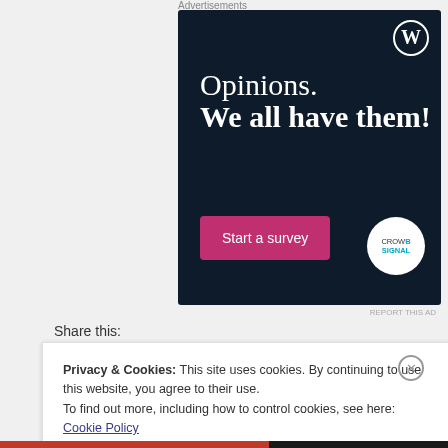Advertisements
[Figure (illustration): Advertisement banner with dark navy background. WordPress logo (W in circle) top right. Text reads 'Opinions. We all have them!' with a pink/magenta 'Start a survey' button and a Crowdsignal logo circle at bottom right.]
REPORT THIS AD
Share this:
Privacy & Cookies: This site uses cookies. By continuing to use this website, you agree to their use.
To find out more, including how to control cookies, see here:
Cookie Policy
Close and accept